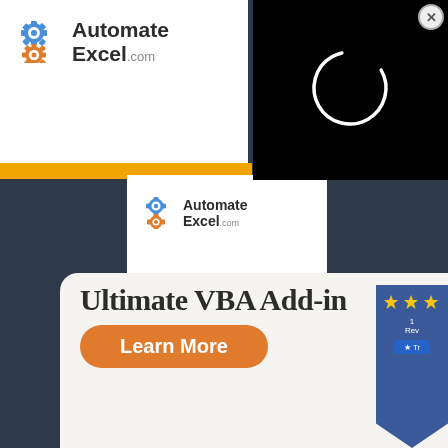[Figure (logo): AutomateExcel.com logo with gear icons, large version in top white area]
[Figure (screenshot): Black video box with white circular loading spinner]
[Figure (logo): AutomateExcel.com logo with gear icons, smaller version in inner white card]
[Figure (illustration): Green banner with bold white text: VBA CODE GENERATOR]
Ultimate VBA Add-in
Learn More